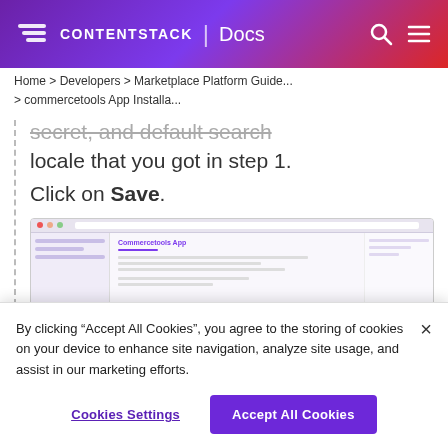CONTENTSTACK | Docs
Home > Developers > Marketplace Platform Guide... > commercetools App Installa...
secret, and default search locale that you got in step 1. Click on Save.
[Figure (screenshot): Screenshot of Contentstack commercetools App configuration interface showing form fields]
By clicking “Accept All Cookies”, you agree to the storing of cookies on your device to enhance site navigation, analyze site usage, and assist in our marketing efforts.
Cookies Settings
Accept All Cookies